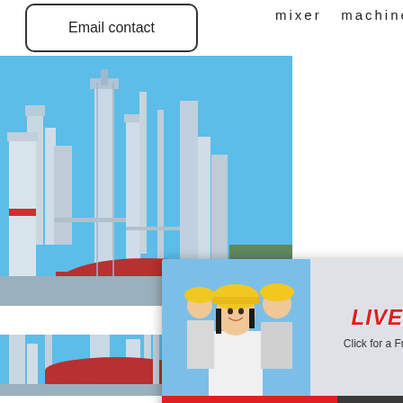Email contact
mixer  machine  with
[Figure (photo): Industrial plant / factory with silos and towers against blue sky, shown twice (top and bottom sections)]
[Figure (infographic): Live Chat popup overlay with photo of engineer in yellow helmet and colleagues, 'LIVE CHAT' in red italic text, 'Click for a Free Consultation' subtext, 'Chat now' red button and 'Chat later' dark button]
hour online
[Figure (photo): Industrial crusher machine (grey box with red wheel) on white background]
Click me to chat>>
Enquiry
hopper,
mumumugoods